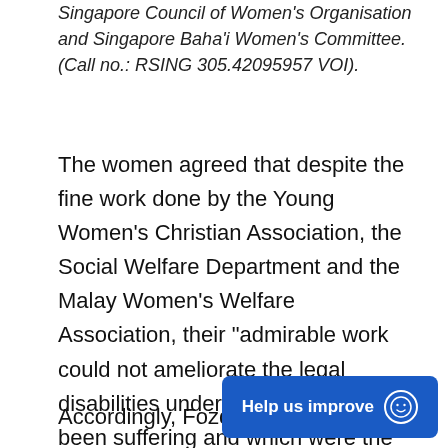Singapore Council of Women's Organisation and Singapore Baha'i Women's Committee. (Call no.: RSING 305.42095957 VOI).
The women agreed that despite the fine work done by the Young Women's Christian Association, the Social Welfare Department and the Malay Women's Welfare Association, their “admirable work could not ameliorate the legal disabilities under which women have been suffering and which were the root causes of many of the social evils”.3
Accordingly, Fozdar called